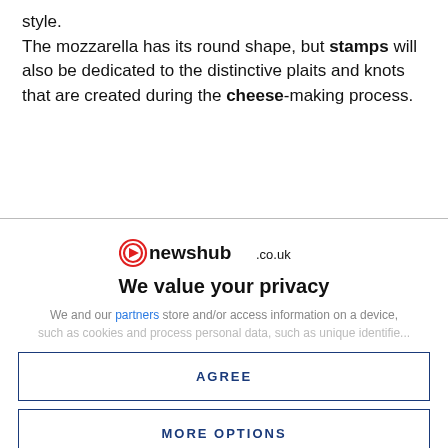style.
The mozzarella has its round shape, but stamps will also be dedicated to the distinctive plaits and knots that are created during the cheese-making process.
[Figure (logo): newshub.co.uk logo with red circular icon on left]
We value your privacy
We and our partners store and/or access information on a device, such as cookies and process personal data, such as unique identifiers
AGREE
MORE OPTIONS